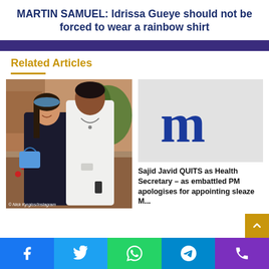MARTIN SAMUEL: Idrissa Gueye should not be forced to wear a rainbow shirt
Related Articles
[Figure (photo): A couple posing together outdoors at what appears to be a garden party. A woman in a dark outfit with a blue bag stands next to a tall man in a white jumpsuit.]
[Figure (logo): Daily Mail logo — gothic-style letter m in blue on a grey background]
Sajid Javid QUITS as Health Secretary – as embattled PM apologises for appointing sleaze M...